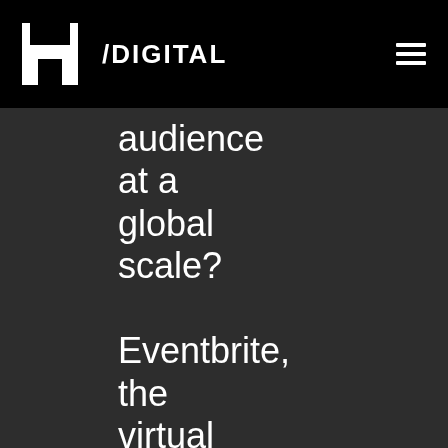A/DIGITAL
audience at a global scale? Eventbrite, the virtual event ticketing platform has found 47% of people are